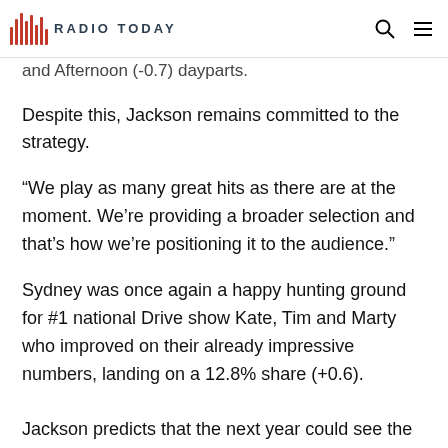RADIO TODAY
It's also worth noting that Nova's 'Greatest Hits' Sydney in both the Morning and Afternoon (-0.7) dayparts.
Despite this, Jackson remains committed to the strategy.
“We play as many great hits as there are at the moment. We’re providing a broader selection and that’s how we’re positioning it to the audience.”
Sydney was once again a happy hunting ground for #1 national Drive show Kate, Tim and Marty who improved on their already impressive numbers, landing on a 12.8% share (+0.6).
Jackson predicts that the next year could see the